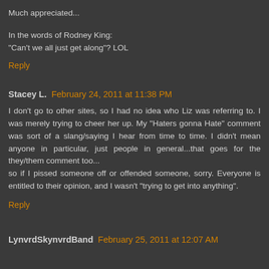Much appreciated...
In the words of Rodney King:
"Can't we all just get along"? LOL
Reply
Stacey L.  February 24, 2011 at 11:38 PM
I don't go to other sites, so I had no idea who Liz was referring to. I was merely trying to cheer her up. My "Haters gonna Hate" comment was sort of a slang/saying I hear from time to time. I didn't mean anyone in particular, just people in general...that goes for the they/them comment too...
so if I pissed someone off or offended someone, sorry. Everyone is entitled to their opinion, and I wasn't "trying to get into anything".
Reply
LynvrdSkynvrdBand  February 25, 2011 at 12:07 AM